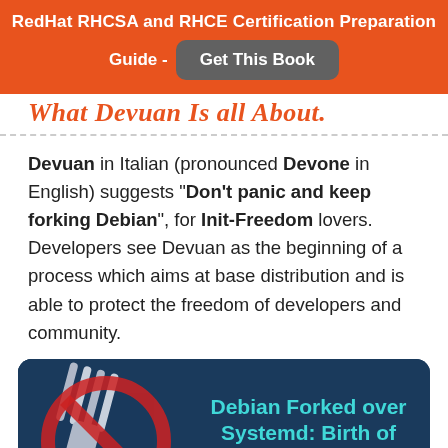RedHat RHCSA and RHCE Certification Preparation Guide - Get This Book
What Devuan Is all About.
Devuan in Italian (pronounced Devone in English) suggests "Don't panic and keep forking Debian", for Init-Freedom lovers. Developers see Devuan as the beginning of a process which aims at base distribution and is able to protect the freedom of developers and community.
[Figure (illustration): Infographic image showing a fork overlaid with a no-symbol (red circle with slash) on a dark blue background, with the text 'Debian Forked over Systemd: Birth of Devuan Gnu/Linux' in cyan and orange. TecMint.com watermark visible.]